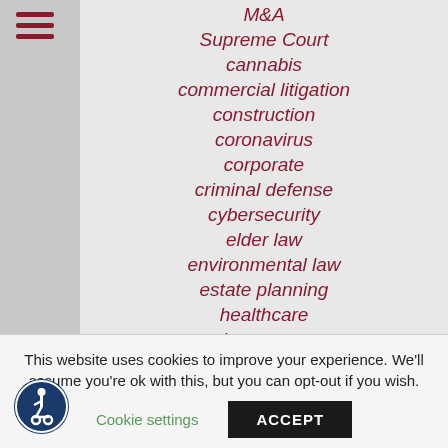[Figure (other): Hamburger menu icon with three horizontal lines in dark red/maroon color]
M&A
Supreme Court
cannabis
commercial litigation
construction
coronavirus
corporate
criminal defense
cybersecurity
elder law
environmental law
estate planning
healthcare
insurance
intellectual property
international
labor & employment
landlord-tenant
This website uses cookies to improve your experience. We'll assume you're ok with this, but you can opt-out if you wish.
Cookie settings  ACCEPT